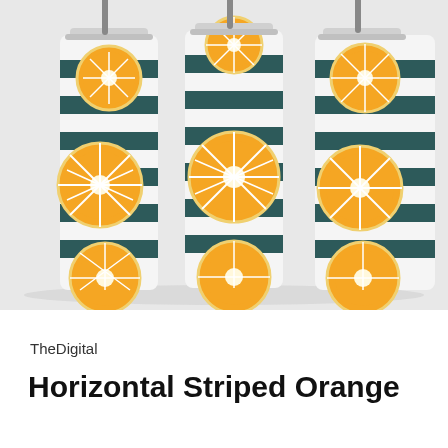[Figure (photo): Three tall skinny stainless steel tumblers with straws, decorated with a pattern of horizontal dark teal/navy stripes and yellow orange citrus slices on a light gray background.]
TheDigital
Horizontal Striped Orange